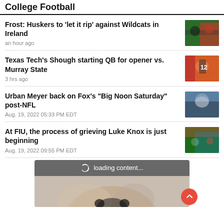College Football
Frost: Huskers to 'let it rip' against Wildcats in Ireland
an hour ago
Texas Tech's Shough starting QB for opener vs. Murray State
3 hrs ago
Urban Meyer back on Fox's "Big Noon Saturday" post-NFL
Aug. 19, 2022 05:33 PM EDT
At FIU, the process of grieving Luke Knox is just beginning
Aug. 19, 2022 09:55 PM EDT
[Figure (screenshot): Loading content spinner bar with grey overlay and partial image of child's face below]